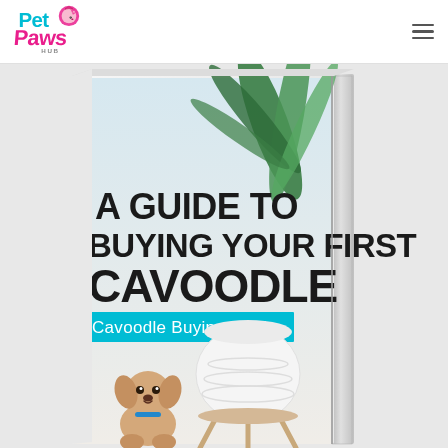[Figure (logo): Pet Paws Hub logo — colorful text with a hedgehog/paw graphic, pink and teal colors]
[Figure (photo): 3D book cover mockup of 'A Guide to Buying Your First Cavoodle — Cavoodle Buying Guide', showing a puppy and a plant in a white pot on a stand, bold black text on white background with teal subtitle banner]